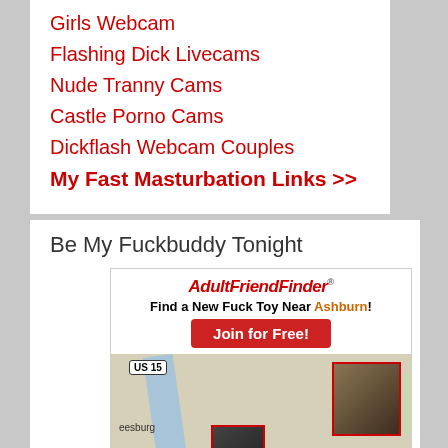Girls Webcam
Flashing Dick Livecams
Nude Tranny Cams
Castle Porno Cams
Dickflash Webcam Couples
My Fast Masturbation Links >>
Be My Fuckbuddy Tonight
[Figure (infographic): AdultFriendFinder advertisement with map showing Ashburn location with user photos pinned on map]